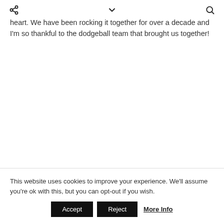[share icon] [chevron down icon] [search icon]
heart. We have been rocking it together for over a decade and I'm so thankful to the dodgeball team that brought us together!
This website uses cookies to improve your experience. We'll assume you're ok with this, but you can opt-out if you wish.
Accept  Reject  More Info